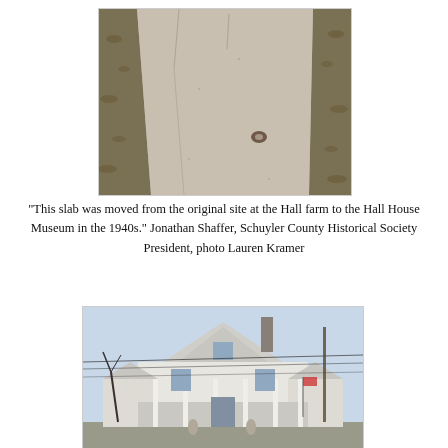[Figure (photo): Overhead view of a concrete or stone slab pathway flanked by dried grass and leaves]
"This slab was moved from the original site at the Hall farm to the Hall House Museum in the 1940s." Jonathan Shaffer, Schuyler County Historical Society President, photo Lauren Kramer
[Figure (photo): Exterior photograph of the Hall House Museum, a white two-story historic house with a large front porch, triangular gable, and bare trees in winter]